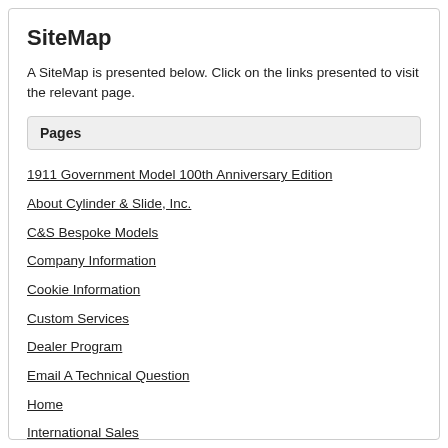SiteMap
A SiteMap is presented below. Click on the links presented to visit the relevant page.
Pages
1911 Government Model 100th Anniversary Edition
About Cylinder & Slide, Inc.
C&S Bespoke Models
Company Information
Cookie Information
Custom Services
Dealer Program
Email A Technical Question
Home
International Sales
John M. Browning .45 ACP Hammerless and the 1910 .45 ACP Prototypes
Magazine Articles
Modern Classics